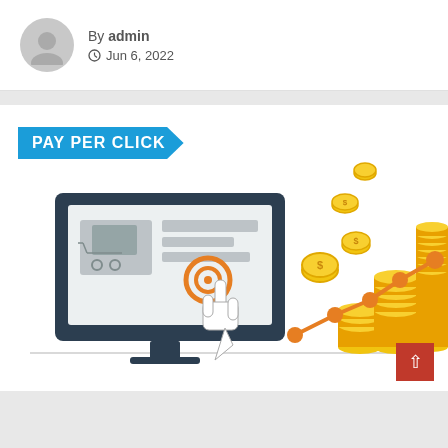By admin
🕐 Jun 6, 2022
[Figure (illustration): Pay Per Click infographic showing a computer monitor with a shopping cart and click cursor icon, coins flying, an upward orange trend line with data points, and stacks of gold coins]
^